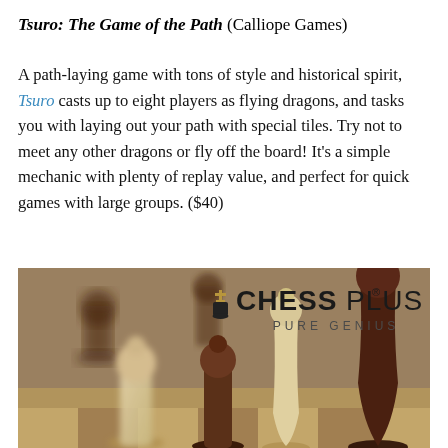Tsuro: The Game of the Path (Calliope Games)
A path-laying game with tons of style and historical spirit, Tsuro casts up to eight players as flying dragons, and tasks you with laying out your path with special tiles. Try not to meet any other dragons or fly off the board! It's a simple mechanic with plenty of replay value, and perfect for quick games with large groups. ($40)
[Figure (photo): Close-up photo of wooden chess pieces (light and dark wood) on a chess board, with ChessPlus logo and tagline 'PURE GENIUS' overlaid in the upper center area.]